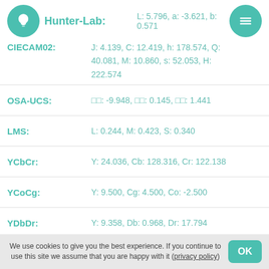Hunter-Lab:
L: 5.796, a: -3.621, b: 0.571
CIECAM02:
J: 4.139, C: 12.419, h: 178.574, Q: 40.081, M: 10.860, s: 52.053, H: 222.574
OSA-UCS: □□: -9.948, □□: 0.145, □□: 1.441
LMS: L: 0.244, M: 0.423, S: 0.340
YCbCr: Y: 24.036, Cb: 128.316, Cr: 122.138
YCoCg: Y: 9.500, Cg: 4.500, Co: -2.500
YDbDr: Y: 9.358, Db: 0.968, Dr: 17.794
YPbPr: Y: 10.730, Pb: -0.390, Pr: -6.816
xvYCC: Y: 25.215, Cb: 127.657, Cr: 122.013
YIQ: Y: 9.358, I: -7.055, Q: -4.205
We use cookies to give you the best experience. If you continue to use this site we assume that you are happy with it (privacy policy)